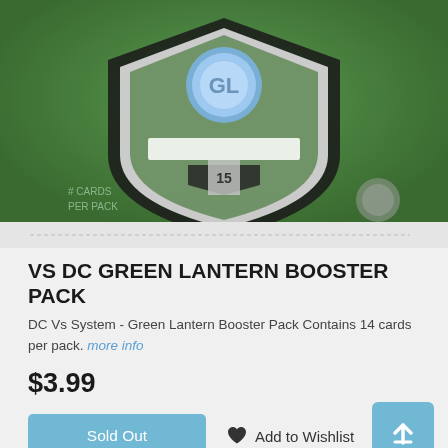[Figure (photo): Product image of VS DC Green Lantern Booster Pack trading card game box, showing a shield/crest design with a blue lantern emblem on a green grassy background]
VS DC GREEN LANTERN BOOSTER PACK
DC Vs System - Green Lantern Booster Pack Contains 14 cards per pack. more info
$3.99
Sold Out
Add to Wishlist